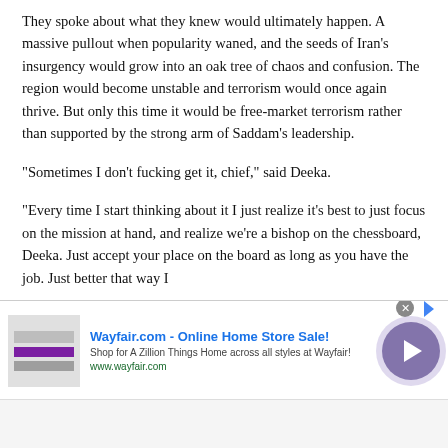They spoke about what they knew would ultimately happen. A massive pullout when popularity waned, and the seeds of Iran’s insurgency would grow into an oak tree of chaos and confusion. The region would become unstable and terrorism would once again thrive. But only this time it would be free-market terrorism rather than supported by the strong arm of Saddam’s leadership.
“Sometimes I don’t fucking get it, chief,” said Deeka.
“Every time I start thinking about it I just realize it’s best to just focus on the mission at hand, and realize we’re a bishop on the chessboard, Deeka. Just accept your place on the board as long as you have the job. Just better that way I
[Figure (other): Wayfair.com advertisement banner: Online Home Store Sale! Shop for A Zillion Things Home across all styles at Wayfair! www.wayfair.com. Has a thumbnail image on the left, ad text in the middle, and a purple circular play button on the right. A close (X) button appears at the top.]